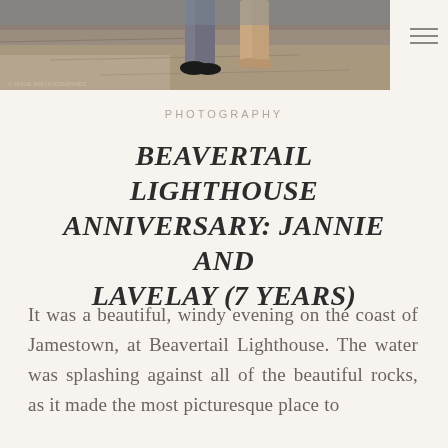[Figure (photo): Photograph showing the lower half of two people standing on rocky coastal terrain, partially cropped at top.]
PHOTOGRAPHY
BEAVERTAIL LIGHTHOUSE ANNIVERSARY: JANNIE AND LAVELAY (7 YEARS)
It was a beautiful, windy evening on the coast of Jamestown, at Beavertail Lighthouse. The water was splashing against all of the beautiful rocks, as it made the most picturesque place to